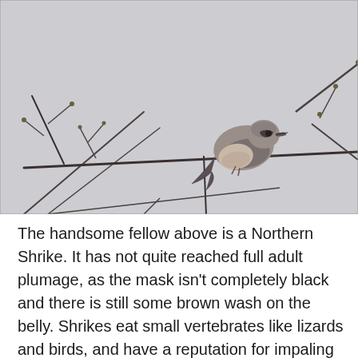[Figure (photo): A Northern Shrike bird perched on a bare twig among leafless branches against a pale gray sky background. The bird has a brownish-gray back, pale underparts with a slight brown wash on the belly, and a partially black mask. The branches have small buds forming.]
The handsome fellow above is a Northern Shrike.  It has not quite reached full adult plumage, as the mask isn't completely black and there is still some brown wash on the belly.  Shrikes eat small vertebrates like lizards and birds, and have a reputation for impaling their prey on